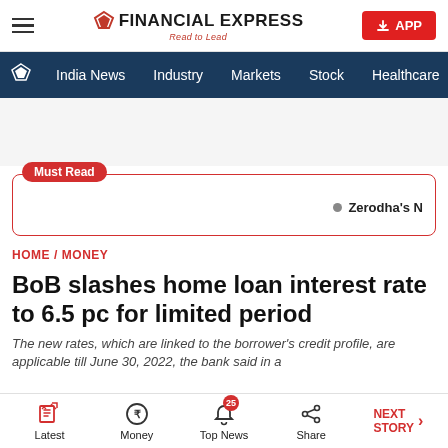FINANCIAL EXPRESS — Read to Lead
India News | Industry | Markets | Stock | Healthcare | More
[Figure (other): Must Read promotional banner with label and text: Zerodha's N...]
HOME / MONEY
BoB slashes home loan interest rate to 6.5 pc for limited period
The new rates, which are linked to the borrower's credit profile, are applicable till June 30, 2022, the bank said in a
Latest | Money | Top News (25) | Share | NEXT STORY